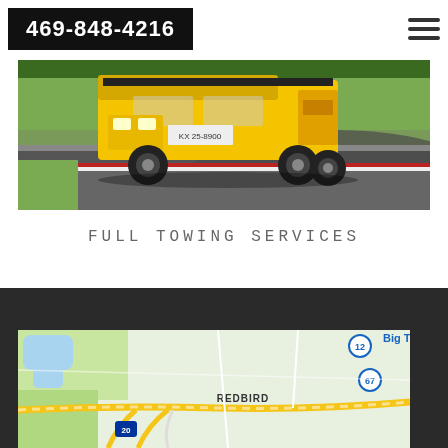469-848-4216
[Figure (photo): Yellow tow truck on a road/track, rear view, turning a corner. Green grass and tarmac visible.]
FULL TOWING SERVICES
[Figure (map): Google Maps screenshot showing REDBIRD area with roads including route 12, 67, and I-20. Big T label partially visible top right.]